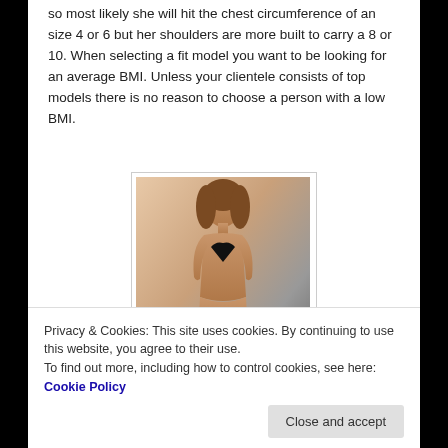so most likely she will hit the chest circumference of an size 4 or 6 but her shoulders are more built to carry a 8 or 10. When selecting a fit model you want to be looking for an average BMI. Unless your clientele consists of top models there is no reason to choose a person with a low BMI.
[Figure (photo): A woman in a black bikini walking on a runway or stage, appearing to be a fashion or swimwear model.]
Privacy & Cookies: This site uses cookies. By continuing to use this website, you agree to their use.
To find out more, including how to control cookies, see here: Cookie Policy